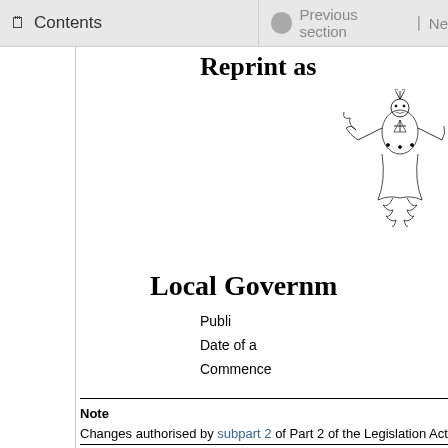Contents | Previous section | Ne
Reprint as
[Figure (illustration): New Zealand government crest / coat of arms illustration showing a figure with decorative elements]
Local Governm
Publi
Date of a
Commence
Note
Changes authorised by subpart 2 of Part 2 of the Legislation Act 2012 h
Note 4 at the end of this reprint provides a list of the amendments incor
This Act is administered by the Department of Internal Affairs.